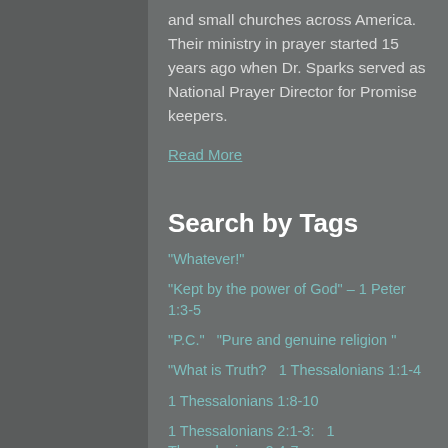and small churches across America. Their ministry in prayer started 15 years ago when Dr. Sparks served as National Prayer Director for Promise keepers.
Read More
Search by Tags
"Whatever!"
"Kept by the power of God" – 1 Peter 1:3-5
"P.C."   "Pure and genuine religion "
"What is Truth?   1 Thessalonians 1:1-4
1 Thessalonians 1:8-10
1 Thessalonians 2:1-3:   1 Thessalonians 2:4-7
1 Thessalonians 2:5-7
1 Thessalonians 2:8-12